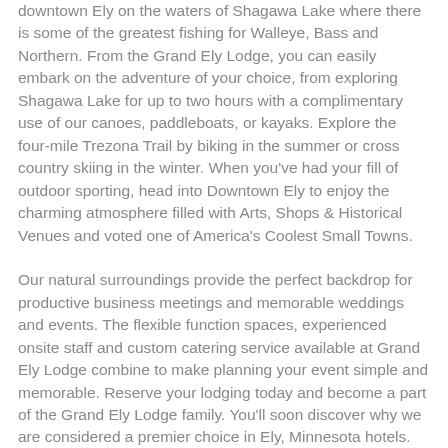downtown Ely on the waters of Shagawa Lake where there is some of the greatest fishing for Walleye, Bass and Northern. From the Grand Ely Lodge, you can easily embark on the adventure of your choice, from exploring Shagawa Lake for up to two hours with a complimentary use of our canoes, paddleboats, or kayaks. Explore the four-mile Trezona Trail by biking in the summer or cross country skiing in the winter. When you've had your fill of outdoor sporting, head into Downtown Ely to enjoy the charming atmosphere filled with Arts, Shops & Historical Venues and voted one of America's Coolest Small Towns.
Our natural surroundings provide the perfect backdrop for productive business meetings and memorable weddings and events. The flexible function spaces, experienced onsite staff and custom catering service available at Grand Ely Lodge combine to make planning your event simple and memorable. Reserve your lodging today and become a part of the Grand Ely Lodge family. You'll soon discover why we are considered a premier choice in Ely, Minnesota hotels.